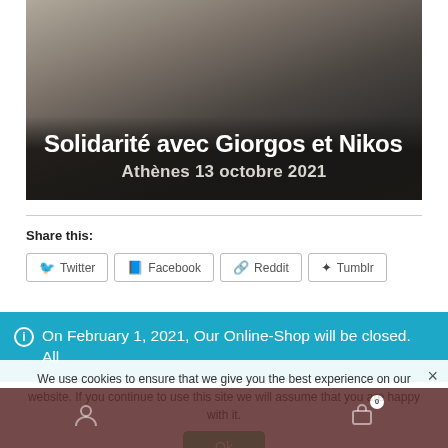[Figure (photo): Black and white photograph of a person standing outdoors, overlaid with bold white text reading 'Solidarité avec Giorgos et Nikos' and 'Athènes 13 octobre 2021']
Solidarité avec Giorgos et Nikos
Athènes 13 octobre 2021
Share this:
Twitter Facebook Reddit Tumblr
On February 1, 2021, Our Online-Shop will be closed. All orders until January 31 will be delivered
We use cookies to ensure that we give you the best experience on our website. If you continue to use this site we will assume that you are happy with it.